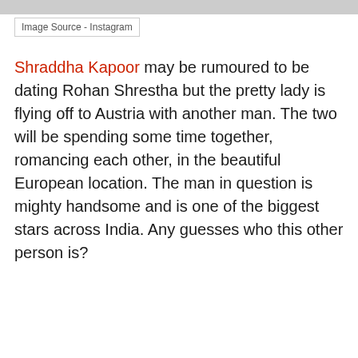[Figure (photo): Partial image strip at top of page]
Image Source - Instagram
Shraddha Kapoor may be rumoured to be dating Rohan Shrestha but the pretty lady is flying off to Austria with another man. The two will be spending some time together, romancing each other, in the beautiful European location. The man in question is mighty handsome and is one of the biggest stars across India. Any guesses who this other person is?